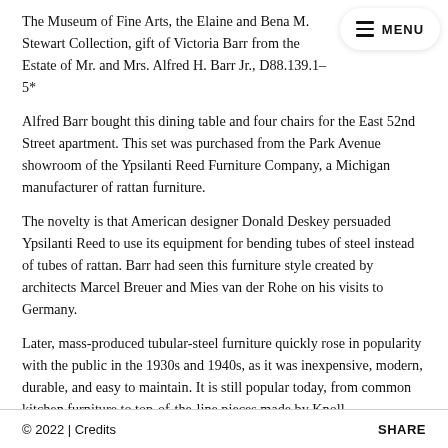The Museum of Fine Arts, the Elaine and Bena M. Stewart Collection, gift of Victoria Barr from the Estate of Mr. and Mrs. Alfred H. Barr Jr., D88.139.1–5*
Alfred Barr bought this dining table and four chairs for the East 52nd Street apartment. This set was purchased from the Park Avenue showroom of the Ypsilanti Reed Furniture Company, a Michigan manufacturer of rattan furniture.
The novelty is that American designer Donald Deskey persuaded Ypsilanti Reed to use its equipment for bending tubes of steel instead of tubes of rattan. Barr had seen this furniture style created by architects Marcel Breuer and Mies van der Rohe on his visits to Germany.
Later, mass-produced tubular-steel furniture quickly rose in popularity with the public in the 1930s and 1940s, as it was inexpensive, modern, durable, and easy to maintain. It is still popular today, from common kitchen furniture to top-of-the-line pieces made by Knoll.
© 2022  |  Credits                                    SHARE